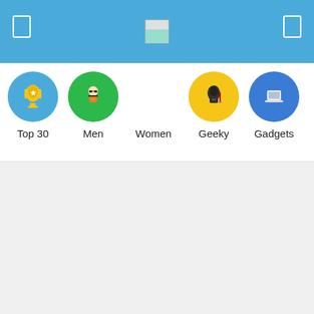[Figure (screenshot): Top blue navigation bar with left and right icon placeholders and a small image in the center]
[Figure (infographic): Category navigation row with four circular icons: Top 30 (blue, trophy), Men (green, person with sunglasses), Geeky (yellow, Darth Vader), Gadgets (dark blue, laptop). Women category label appears with no circle visible. Labels: Top 30, Men, Women, Geeky, Gadgets.]
Super Mario Christmas Ornaments
Via Etsy
Check It Out
This post may contain affiliate links (what is this?)